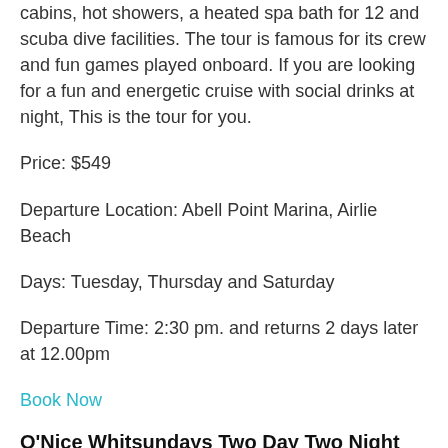cabins, hot showers, a heated spa bath for 12 and scuba dive facilities. The tour is famous for its crew and fun games played onboard. If you are looking for a fun and energetic cruise with social drinks at night, This is the tour for you.
Price: $549
Departure Location: Abell Point Marina, Airlie Beach
Days: Tuesday, Thursday and Saturday
Departure Time: 2:30 pm. and returns 2 days later at 12.00pm
Book Now
O'Nice Whitsundays Two Day Two Night Tour
This tour is on a modern yacht and can take just